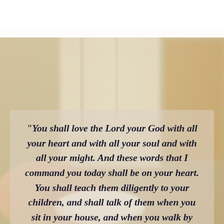[Figure (photo): A blurred warm-toned background photo showing hands holding a white bowl, with soft interior/kitchen environment in background — warm beige, golden and white tones.]
“You shall love the Lord your God with all your heart and with all your soul and with all your might. And these words that I command you today shall be on your heart. You shall teach them diligently to your children, and shall talk of them when you sit in your house, and when you walk by the way, and when you lie down, and when you rise.”